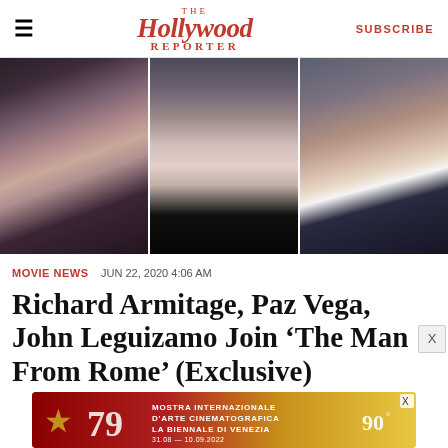The Hollywood Reporter — SUBSCRIBE
[Figure (photo): Three headshot photos side by side: Richard Armitage (left), Paz Vega (center), John Leguizamo (right)]
MOVIE NEWS  JUN 22, 2020 4:06 AM
Richard Armitage, Paz Vega, John Leguizamo Join 'The Man From Rome' (Exclusive)
[Figure (other): Advertisement: Mostra Internazionale D'Arte Cinematografica La Biennale Di Venezia 79, 31.08–10.09.2022, 90°]